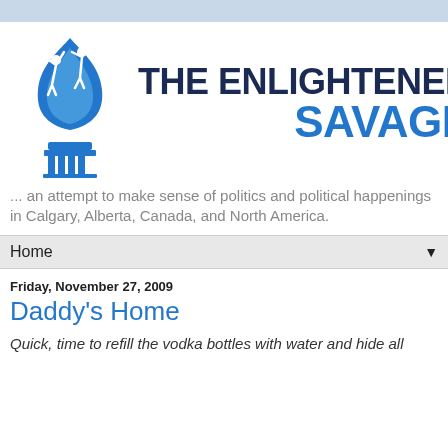[Figure (logo): The Enlightened Savage logo: blue torch with human figures and text 'THE ENLIGHTENED SAVAGE']
... an attempt to make sense of politics and political happenings in Calgary, Alberta, Canada, and North America.
Home ▼
Friday, November 27, 2009
Daddy's Home
Quick, time to refill the vodka bottles with water and hide all